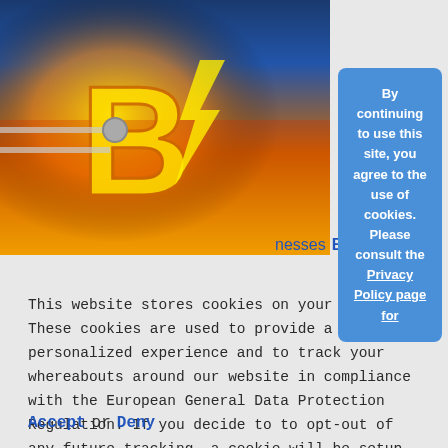[Figure (illustration): Bitcoin logo illustration with orange/yellow B letter and robotic arm imagery against a colorful background]
By continuing to use this site, you agree to the use of cookies. Please consult the Privacy Policy page for
businesses Begin
This website stores cookies on your computer. These cookies are used to provide a more personalized experience and to track your whereabouts around our website in compliance with the European General Data Protection Regulation. If you decide to to opt-out of any future tracking, a cookie will be setup in your browser to remember this choice for one year.
Accept or Deny